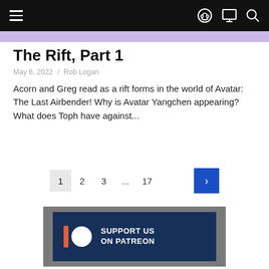Navigation header with hamburger menu and icons
The Rift, Part 1
May 6, 2022 / Rob Logan
Acorn and Greg read as a rift forms in the world of Avatar: The Last Airbender! Why is Avatar Yangchen appearing? What does Toph have against...
Pagination: 1 2 3 ... 17 >
[Figure (logo): Patreon support banner with Patreon logo and text SUPPORT US ON PATREON on dark blue background with grey border]